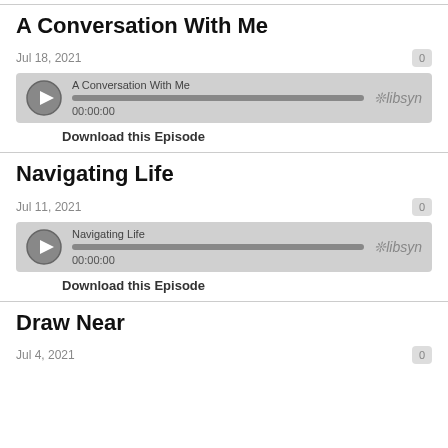A Conversation With Me
Jul 18, 2021
[Figure (other): Libsyn audio player for 'A Conversation With Me', showing play button, progress bar, timestamp 00:00:00, and Libsyn logo]
Download this Episode
Navigating Life
Jul 11, 2021
[Figure (other): Libsyn audio player for 'Navigating Life', showing play button, progress bar, timestamp 00:00:00, and Libsyn logo]
Download this Episode
Draw Near
Jul 4, 2021